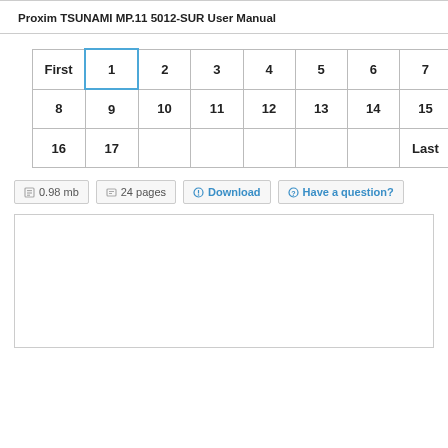Proxim TSUNAMI MP.11 5012-SUR User Manual
| First | 1 | 2 | 3 | 4 | 5 | 6 | 7 |
| 8 | 9 | 10 | 11 | 12 | 13 | 14 | 15 |
| 16 | 17 |  |  |  |  |  | Last |
0.98 mb   24 pages   Download   Have a question?
[Figure (screenshot): White preview area / document preview box]